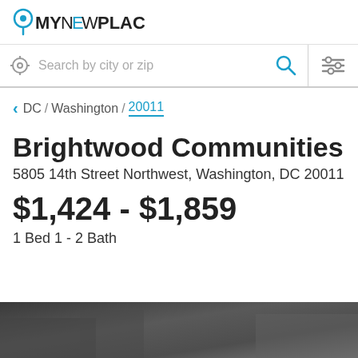MyNewPlace logo
Search by city or zip
DC / Washington / 20011
Brightwood Communities
5805 14th Street Northwest, Washington, DC 20011
$1,424 - $1,859
1 Bed 1 - 2 Bath
[Figure (photo): Exterior or interior photo of Brightwood Communities apartment building, partially visible at bottom of page]